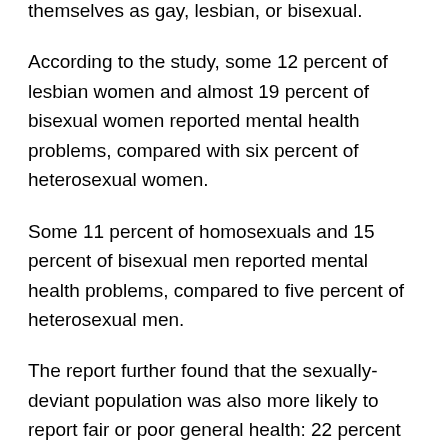themselves as gay, lesbian, or bisexual.
According to the study, some 12 percent of lesbian women and almost 19 percent of bisexual women reported mental health problems, compared with six percent of heterosexual women.
Some 11 percent of homosexuals and 15 percent of bisexual men reported mental health problems, compared to five percent of heterosexual men.
The report further found that the sexually-deviant population was also more likely to report fair or poor general health: 22 percent of homosexuals and 26 percent of bisexual men, compared with